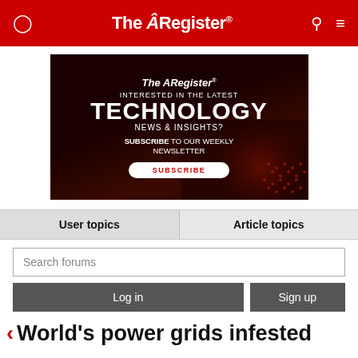The Register
[Figure (advertisement): The Register newsletter subscription advertisement with dark red background showing tech circuit imagery. Text reads: The Register - INTERESTED IN THE LATEST TECHNOLOGY NEWS & INSIGHTS? SUBSCRIBE TO OUR WEEKLY NEWSLETTER with a SUBSCRIBE button.]
User topics
Article topics
Search forums
Log in
Sign up
World's power grids infested